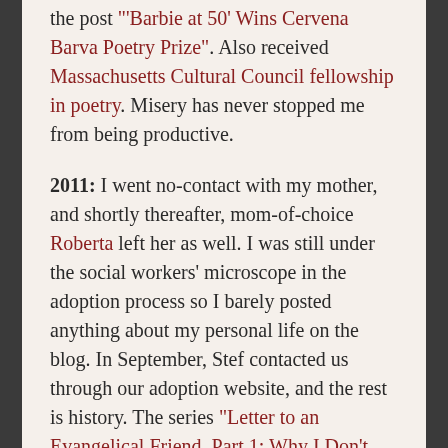the post "'Barbie at 50' Wins Cervena Barva Poetry Prize". Also received Massachusetts Cultural Council fellowship in poetry. Misery has never stopped me from being productive.
2011: I went no-contact with my mother, and shortly thereafter, mom-of-choice Roberta left her as well. I was still under the social workers' microscope in the adoption process so I barely posted anything about my personal life on the blog. In September, Stef contacted us through our adoption website, and the rest is history. The series "Letter to an Evangelical Friend, Part 1: Why I Don't Read Anti-Gay Theology" and "Part 2: Obeying Jesus Without Knowing Him?" is the culmination of 5 years wrestling with the gay Christian issue, and in retrospect, already shows the de-conversion that I would take several more years